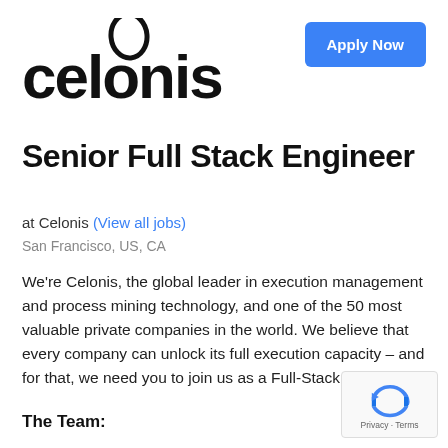[Figure (logo): Celonis company logo with stylized oval/egg shape above the 'o']
Apply Now
Senior Full Stack Engineer
at Celonis (View all jobs)
San Francisco, US, CA
We're Celonis, the global leader in execution management and process mining technology, and one of the 50 most valuable private companies in the world. We believe that every company can unlock its full execution capacity – and for that, we need you to join us as a Full-Stack Engineer.
The Team:
[Figure (other): reCAPTCHA privacy badge with blue arrow icon and 'Privacy - Terms' text]